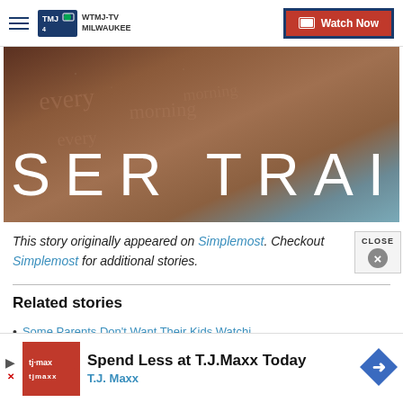WTMJ-TV MILWAUKEE | Watch Now
[Figure (photo): Close-up photo of skin with text overlay reading 'SER TRAI' (partial title, appears to be a TV show/movie title card)]
This story originally appeared on Simplemost. Checkout Simplemost for additional stories.
Related stories
Some Parents Don't Want Their Kids Watchi...
[Figure (infographic): T.J. Maxx advertisement banner: 'Spend Less at T.J.Maxx Today / T.J. Maxx']